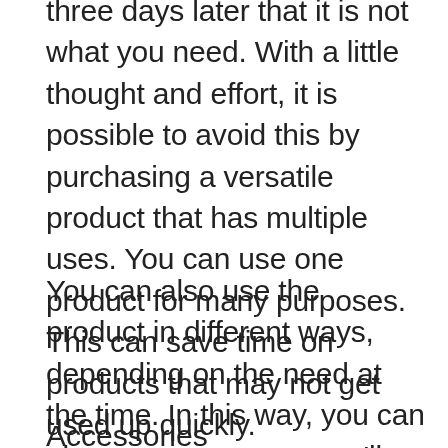three days later that it is not what you need. With a little thought and effort, it is possible to avoid this by purchasing a versatile product that has multiple uses. You can use one product for many purposes. This can save time on products that may not get used up quickly.
You can also use the product in different ways, depending on the need at the time. In this way, you can also save money as you'll just need to purchase the perfect one.
Accessories